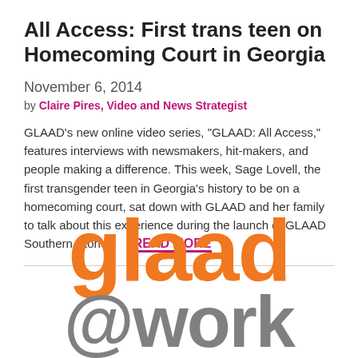All Access: First trans teen on Homecoming Court in Georgia
November 6, 2014
by Claire Pires, Video and News Strategist
GLAAD's new online video series, "GLAAD: All Access," features interviews with newsmakers, hit-makers, and people making a difference. This week, Sage Lovell, the first transgender teen in Georgia's history to be on a homecoming court, sat down with GLAAD and her family to talk about this experience during the launch of GLAAD Southern Stories. READ MORE
[Figure (logo): GLAAD logo with text 'glaad @work' in orange and grey large bold font]